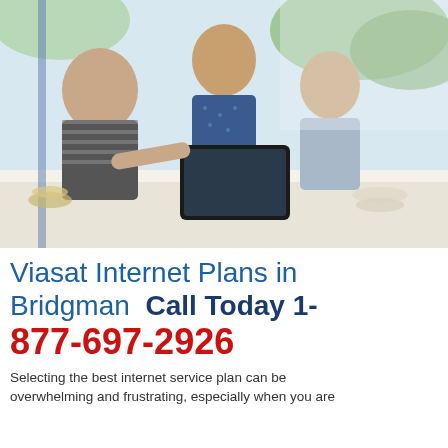[Figure (photo): A family of three — a father in a striped shirt, a mother in a blue dotted blouse, and a young boy — sitting at a white table, smiling and looking at a tablet device together. Background shows greenery and a bright outdoor setting.]
Viasat Internet Plans in Bridgman   Call Today 1-877-697-2926
Selecting the best internet service plan can be overwhelming and frustrating, especially when you are